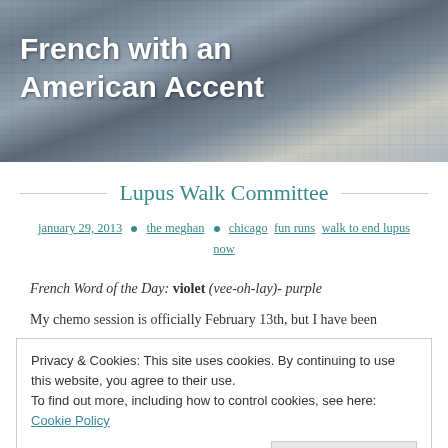[Figure (photo): Header photo of a Paris street with buildings and a Metro sign, with blog title overlay]
French with an American Accent
Lupus Walk Committee
january 29, 2013 • the meghan • chicago  fun runs  walk to end lupus now
French Word of the Day: violet (vee-oh-lay)- purple
My chemo session is officially February 13th, but I have been
Privacy & Cookies: This site uses cookies. By continuing to use this website, you agree to their use.
To find out more, including how to control cookies, see here: Cookie Policy
Close and accept
I'm still doing my part to search for a cure. Yesterday, Rosie and I had